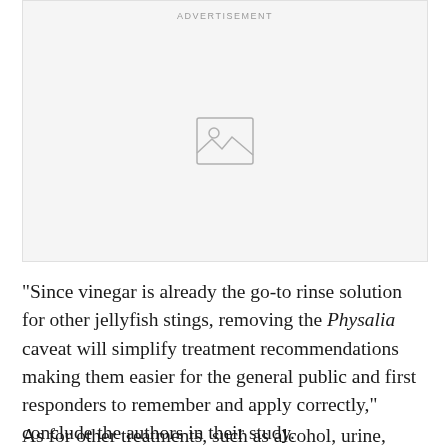[Figure (other): Advertisement placeholder block with image icon in center and 'ADVERTISEMENT' label at top]
“Since vinegar is already the go-to rinse solution for other jellyfish stings, removing the Physalia caveat will simplify treatment recommendations making them easier for the general public and first responders to remember and apply correctly,” conclude the authors in their study.
As for other treatments, such as alcohol, urine, bicarbonate of soda, detergent, lemon juice, regular cola, and pressure…